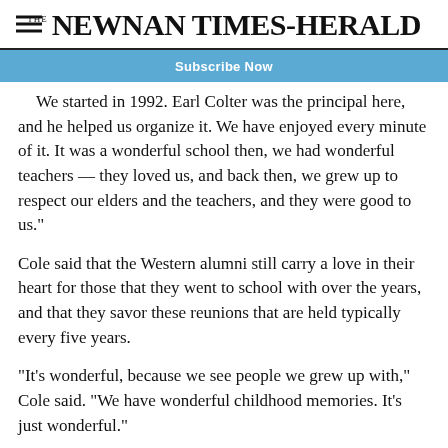THE NEWNAN TIMES-HERALD
Subscribe Now
We started in 1992. Earl Colter was the principal here, and he helped us organize it. We have enjoyed every minute of it. It was a wonderful school then, we had wonderful teachers — they loved us, and back then, we grew up to respect our elders and the teachers, and they were good to us."
Cole said that the Western alumni still carry a love in their heart for those that they went to school with over the years, and that they savor these reunions that are held typically every five years.
“It’s wonderful, because we see people we grew up with,” Cole said. “We have wonderful childhood memories. It’s just wonderful.”
Cole started her time at Western in high school after spending her elementary and middle school years at Arnco, Sargent and